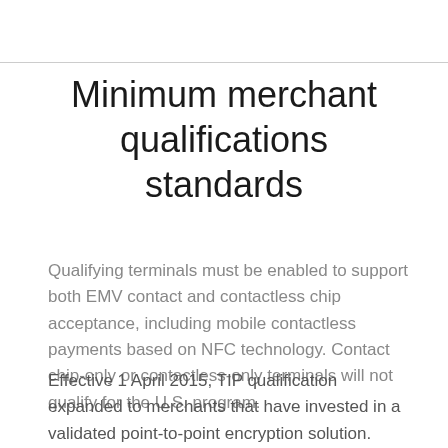Minimum merchant qualifications standards
Qualifying terminals must be enabled to support both EMV contact and contactless chip acceptance, including mobile contactless payments based on NFC technology. Contact chip-only or contactless-only terminals will not qualify for the U.S. program.
Effective 1 April 2015, TIP qualification expanded to merchants that have invested in a validated point-to-point encryption solution. Qualifying solutions are those that are included on PCI SSC's list of